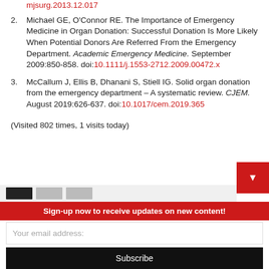mjsurg.2013.12.017
2. Michael GE, O’Connor RE. The Importance of Emergency Medicine in Organ Donation: Successful Donation Is More Likely When Potential Donors Are Referred From the Emergency Department. Academic Emergency Medicine. September 2009:850-858. doi:10.1111/j.1553-2712.2009.00472.x
3. McCallum J, Ellis B, Dhanani S, Stiell IG. Solid organ donation from the emergency department – A systematic review. CJEM. August 2019:626-637. doi:10.1017/cem.2019.365
(Visited 802 times, 1 visits today)
Sign-up now to receive updates on new content!
Your email address:
Subscribe